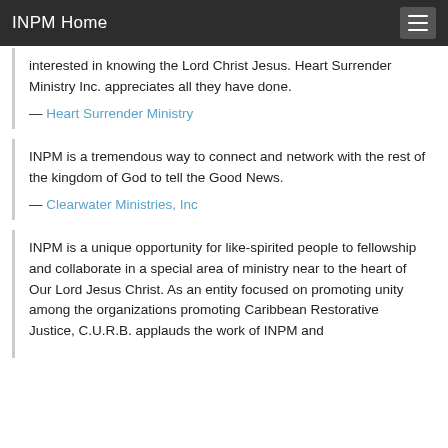INPM Home
interested in knowing the Lord Christ Jesus. Heart Surrender Ministry Inc. appreciates all they have done.
— Heart Surrender Ministry
INPM is a tremendous way to connect and network with the rest of the kingdom of God to tell the Good News.
— Clearwater Ministries, Inc
INPM is a unique opportunity for like-spirited people to fellowship and collaborate in a special area of ministry near to the heart of Our Lord Jesus Christ. As an entity focused on promoting unity among the organizations promoting Caribbean Restorative Justice, C.U.R.B. applauds the work of INPM and